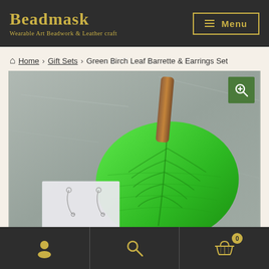Beadmask — Wearable Art Beadwork & Leather craft | Menu
Home › Gift Sets › Green Birch Leaf Barrette & Earrings Set
[Figure (photo): Product photo showing a large green birch leaf-shaped barrette with a brown wooden stick, displayed on a gray stone background. Below and to the left is a white card with two silver dangle earrings.]
User account icon | Search icon | Cart icon (0 items)